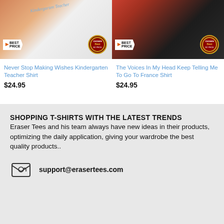[Figure (photo): Two product t-shirt listings side by side. Left: white t-shirt with 'Kindergarten Teacher' script text, orange/autumn background, BEST PRICE badge and red circle badge. Right: black t-shirt on red/rust background, BEST PRICE badge and red circle badge. Navigation arrows on sides.]
Never Stop Making Wishes Kindergarten Teacher Shirt
$24.95
The Voices In My Head Keep Telling Me To Go To France Shirt
$24.95
SHOPPING T-SHIRTS WITH THE LATEST TRENDS
Eraser Tees and his team always have new ideas in their products, optimizing the daily application, giving your wardrobe the best quality products..
support@erasertees.com